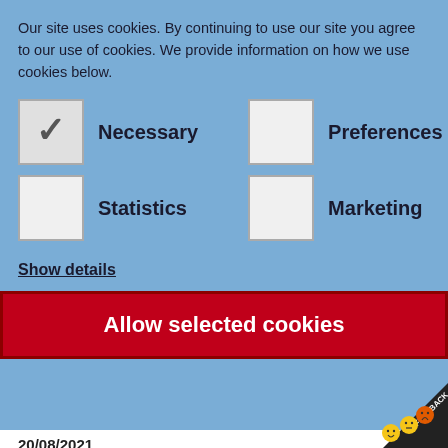Our site uses cookies. By continuing to use our site you agree to our use of cookies. We provide information on how we use cookies below.
✓ Necessary
☐ Statistics
☐ Preferences
☐ Marketing
Show details
Allow selected cookies
20/08/2021
Presented by:
Minister for Treasury and Resources
States of Jersey Law 2005: Delegation o…